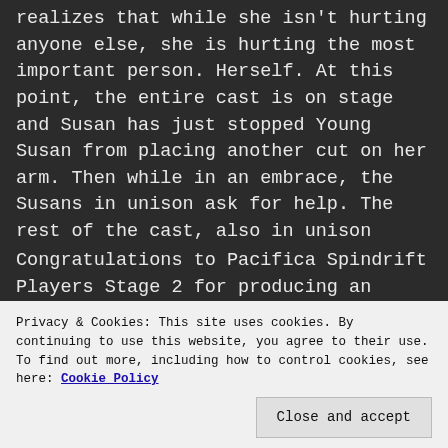realizes that while she isn't hurting anyone else, she is hurting the most important person.  Herself.  At this point, the entire cast is on stage and Susan has just stopped Young Susan from placing another cut on her arm.  Then while in an embrace, the Susans in unison ask for help.  The rest of the cast, also in unison answer the call.  It's a very moving scene.
Congratulations to Pacifica Spindrift Players Stage 2 for producing an important piece of work for the sake of all those that suffer from this behavior.  While there were a few tiny, tiny choices I would have liked to have seen done in a different way, this was a great debut for
Privacy & Cookies: This site uses cookies. By continuing to use this website, you agree to their use.
To find out more, including how to control cookies, see here: Cookie Policy
Close and accept